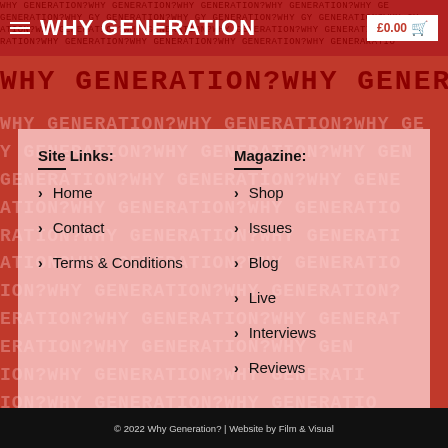WHY GENERATION £0.00
Site Links:
Magazine:
> Home
> Contact
> Terms & Conditions
> Shop
> Issues
> Blog
> Live
> Interviews
> Reviews
© 2022 Why Generation? | Website by Film & Visual